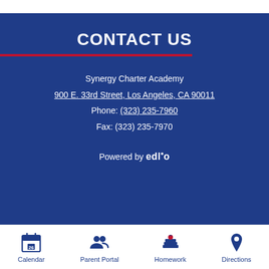CONTACT US
Synergy Charter Academy
900 E. 33rd Street, Los Angeles, CA 90011
Phone: (323) 235-7960
Fax: (323) 235-7970
Powered by edlio
[Figure (infographic): Bottom navigation bar with four icons and labels: Calendar (calendar icon with 26), Parent Portal (two people icon), Homework (books with apple icon), Directions (map pin icon)]